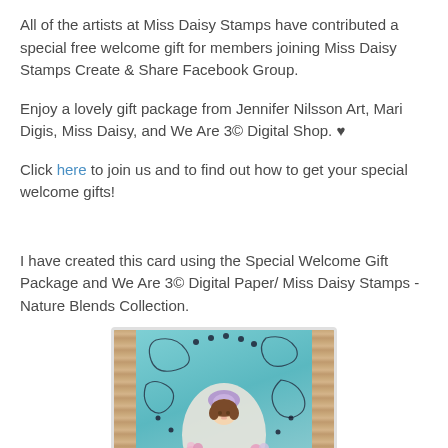All of the artists at Miss Daisy Stamps have contributed a special free welcome gift for members joining Miss Daisy Stamps Create & Share Facebook Group.
Enjoy a lovely gift package from Jennifer Nilsson Art, Mari Digis, Miss Daisy, and We Are 3© Digital Shop. ♥
Click here to join us and to find out how to get your special welcome gifts!
I have created this card using the Special Welcome Gift Package and We Are 3© Digital Paper/ Miss Daisy Stamps - Nature Blends Collection.
[Figure (photo): A handmade greeting card with a teal/turquoise background featuring floral and swirl designs, a central oval frame with a cute illustrated girl with a lavender hat and brown hair, and wooden borders on the sides with pink flowers at the bottom.]